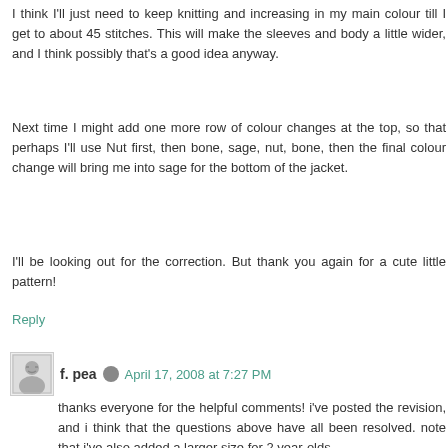I think I'll just need to keep knitting and increasing in my main colour till I get to about 45 stitches. This will make the sleeves and body a little wider, and I think possibly that's a good idea anyway.
Next time I might add one more row of colour changes at the top, so that perhaps I'll use Nut first, then bone, sage, nut, bone, then the final colour change will bring me into sage for the bottom of the jacket.
I'll be looking out for the correction. But thank you again for a cute little pattern!
Reply
f. pea   April 17, 2008 at 7:27 PM
thanks everyone for the helpful comments! i've posted the revision, and i think that the questions above have all been resolved. note that i've also added a larger size for 2 year-olds.